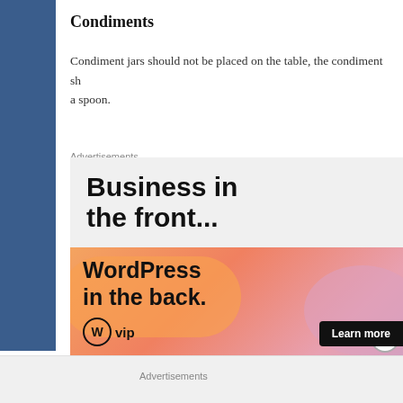Condiments
Condiment jars should not be placed on the table, the condiment sh... a spoon.
Advertisements
[Figure (illustration): Advertisement banner for WordPress VIP. Top half has light gray background with bold text 'Business in the front...'. Bottom half has orange-pink gradient with bold text 'WordPress in the back.' with WordPress VIP logo and 'Learn more' button.]
Advertisements